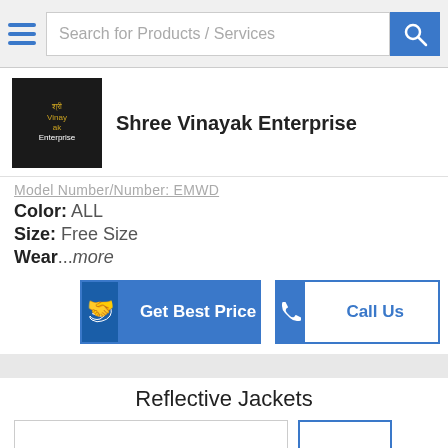Search for Products / Services
[Figure (logo): Shree Vinayak Enterprise company logo, dark background with text]
Shree Vinayak Enterprise
Model Number/Number: EMWD
Color: ALL
Size: Free Size
Wear...more
Get Best Price
Call Us
Reflective Jackets
[Figure (photo): Main product image area for Reflective Jackets]
[Figure (photo): Thumbnail image 1 for Reflective Jackets (selected, blue border)]
[Figure (photo): Thumbnail image 2 for Reflective Jackets]